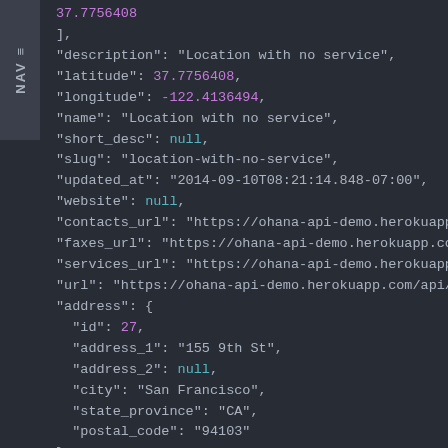[Figure (screenshot): Dark-themed code editor or API response viewer showing a JSON object with location and address fields. A NAV tab is visible on the left side.]
37.7756408
],
"description": "Location with no service",
"latitude": 37.7756408,
"longitude": -122.4136494,
"name": "Location with no service",
"short_desc": null,
"slug": "location-with-no-service",
"updated_at": "2014-09-10T08:21:14.848-07:00",
"website": null,
"contacts_url": "https://ohana-api-demo.herokuapp.com/a
"faxes_url": "https://ohana-api-demo.herokuapp.com/api.
"services_url": "https://ohana-api-demo.herokuapp.com/a
"url": "https://ohana-api-demo.herokuapp.com/api/locat
"address": {
  "id": 27,
  "address_1": "155 9th St",
  "address_2": null,
  "city": "San Francisco",
  "state_province": "CA",
  "postal_code": "94103"
},
"organization": {
  "id": 8,
  "accreditations": [],